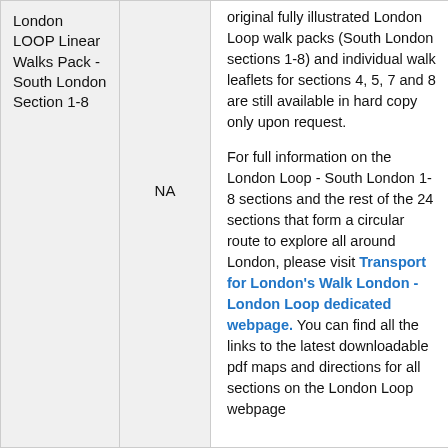| London LOOP Linear Walks Pack - South London Section 1-8 | NA | original fully illustrated London Loop walk packs (South London sections 1-8) and individual walk leaflets for sections 4, 5, 7 and 8 are still available in hard copy only upon request.

For full information on the London Loop - South London 1-8 sections and the rest of the 24 sections that form a circular route to explore all around London, please visit Transport for London's Walk London - London Loop dedicated webpage. You can find all the links to the latest downloadable pdf maps and directions for all sections on the London Loop webpage |